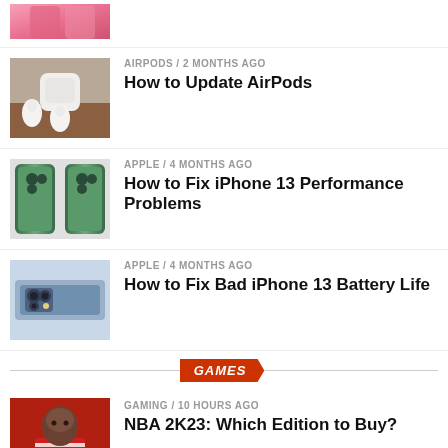[Figure (photo): Pink/rose colored device (smartphone) thumbnail, partially visible at top]
[Figure (photo): AirPods and case on a wooden surface]
AIRPODS / 2 months ago
How to Update AirPods
[Figure (photo): Two green iPhone 13 Pro devices back to back]
APPLE / 4 months ago
How to Fix iPhone 13 Performance Problems
[Figure (photo): iPhone 13 Pro camera module close-up in blue]
APPLE / 4 months ago
How to Fix Bad iPhone 13 Battery Life
GAMES
[Figure (photo): NBA 2K23 game character in Chicago Bulls uniform]
GAMING / 10 hours ago
NBA 2K23: Which Edition to Buy?